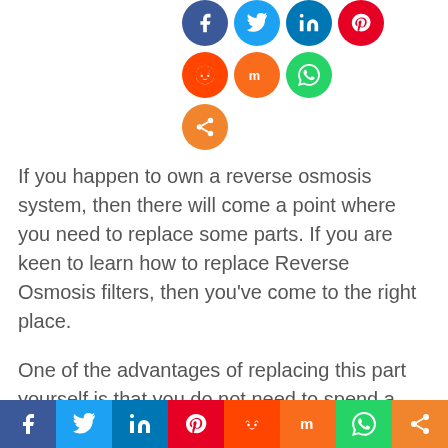[Figure (infographic): Row of social media sharing icon circles (Facebook, Twitter, LinkedIn, Pinterest, Reddit, Mix, WhatsApp) and one orange share circle below, at the top of the page]
If you happen to own a reverse osmosis system, then there will come a point where you need to replace some parts. If you are keen to learn how to replace Reverse Osmosis filters, then you've come to the right place.
One of the advantages of replacing this part yourself is that you do not need to spend a buck just to hire a professional that will do a basic and easy job. We have run down below
[Figure (infographic): Bottom navigation bar with 8 colored social media share buttons: Facebook (blue), Twitter (light blue), LinkedIn (dark blue), Pinterest (red), Reddit (orange-red), Mix (orange), WhatsApp (green), Share (orange)]